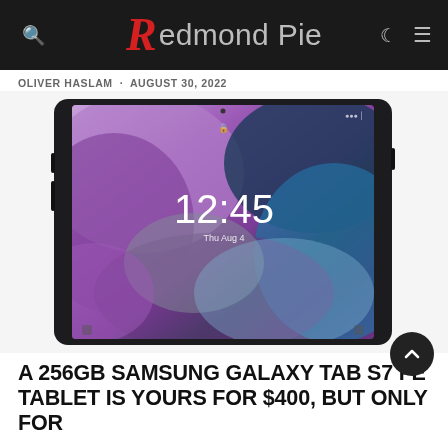Redmond Pie
OLIVER HASLAM · AUGUST 30, 2022
[Figure (photo): Samsung Galaxy Tab S7 FE tablet showing lock screen with time 12:45, purple and blue abstract wallpaper, black frame, angled perspective view]
A 256GB SAMSUNG GALAXY TAB S7 FE TABLET IS YOURS FOR $400, BUT ONLY FOR